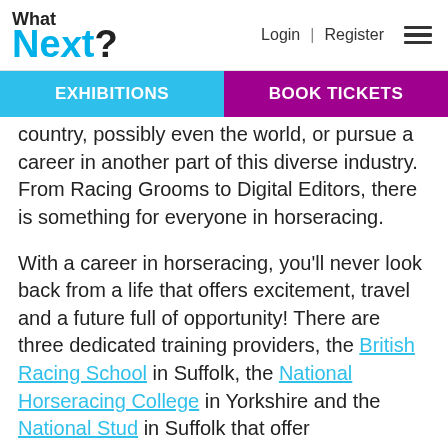What Next? | Login | Register
EXHIBITIONS | BOOK TICKETS
country, possibly even the world, or pursue a career in another part of this diverse industry. From Racing Grooms to Digital Editors, there is something for everyone in horseracing.
With a career in horseracing, you'll never look back from a life that offers excitement, travel and a future full of opportunity! There are three dedicated training providers, the British Racing School in Suffolk, the National Horseracing College in Yorkshire and the National Stud in Suffolk that offer Apprenticeships and training courses at every level. You can even attend a